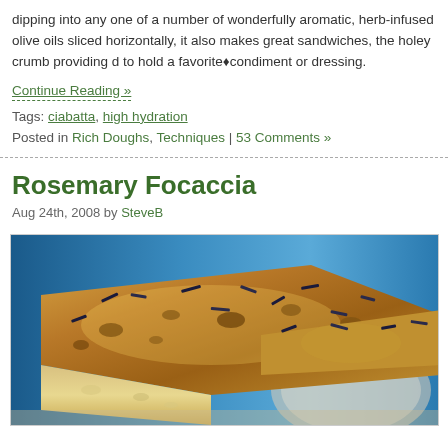dipping into any one of a number of wonderfully aromatic, herb-infused olive oils sliced horizontally, it also makes great sandwiches, the holey crumb providing d… to hold a favorite� condiment or dressing.
Continue Reading »
Tags: ciabatta, high hydration
Posted in Rich Doughs, Techniques | 53 Comments »
Rosemary Focaccia
Aug 24th, 2008 by SteveB
[Figure (photo): Close-up photo of rosemary focaccia bread slices on a decorative plate, showing golden-brown crust with visible rosemary leaves on top, with a blue decorative background.]